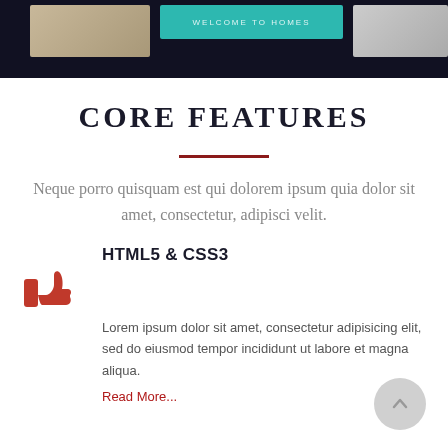[Figure (screenshot): Top banner screenshot showing a dark background with a teal/green header banner reading 'WELCOME TO HOMES', a skin-toned image on the left, and a grey image on the right]
CORE FEATURES
Neque porro quisquam est qui dolorem ipsum quia dolor sit amet, consectetur, adipisci velit.
HTML5 & CSS3
Lorem ipsum dolor sit amet, consectetur adipisicing elit, sed do eiusmod tempor incididunt ut labore et magna aliqua.
Read More...